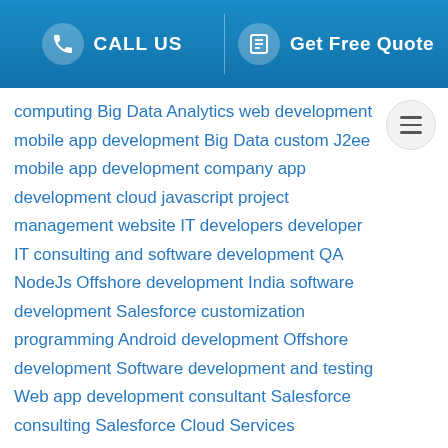CALL US | Get Free Quote
computing Big Data Analytics web development mobile app development Big Data custom J2ee mobile app development company app development cloud javascript project management website IT developers developer IT consulting and software development QA NodeJs Offshore development India software development Salesforce customization programming Android development Offshore development Software development and testing Web app development consultant Salesforce consulting Salesforce Cloud Services
We use cookies on our website to provide you with a more personalised digital experience and for analytics related to our website and other media. For more information, please review our Privacy Policy and Cookies Policy.
ACCEPT